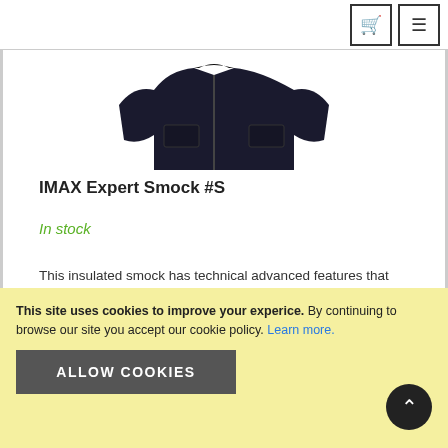Navigation bar with cart and menu icons
[Figure (photo): Partial product image of IMAX Expert Smock, dark navy/black jacket, cropped at top]
IMAX Expert Smock #S
In stock
This insulated smock has technical advanced features that are required to cope with the demanding conditions an angler face.
€49.00  €63.00
This site uses cookies to improve your experice. By continuing to browse our site you accept our cookie policy. Learn more.
ALLOW COOKIES